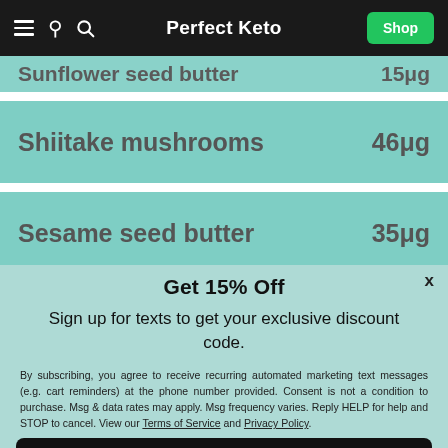Perfect Keto
| Food | Amount |
| --- | --- |
| Sunflower seed butter | 15μg |
| Shiitake mushrooms | 46μg |
| Sesame seed butter | 35μg |
Get 15% Off
Sign up for texts to get your exclusive discount code.
By subscribing, you agree to receive recurring automated marketing text messages (e.g. cart reminders) at the phone number provided. Consent is not a condition to purchase. Msg & data rates may apply. Msg frequency varies. Reply HELP for help and STOP to cancel. View our Terms of Service and Privacy Policy.
Get 15% Off Now